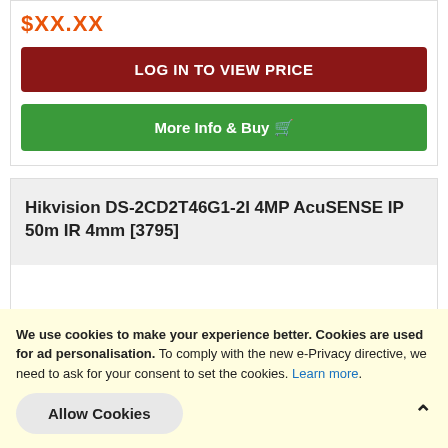$XX.XX
LOG IN TO VIEW PRICE
More Info & Buy 🛒
Hikvision DS-2CD2T46G1-2I 4MP AcuSENSE IP 50m IR 4mm [3795]
We use cookies to make your experience better. Cookies are used for ad personalisation. To comply with the new e-Privacy directive, we need to ask for your consent to set the cookies. Learn more.
Allow Cookies